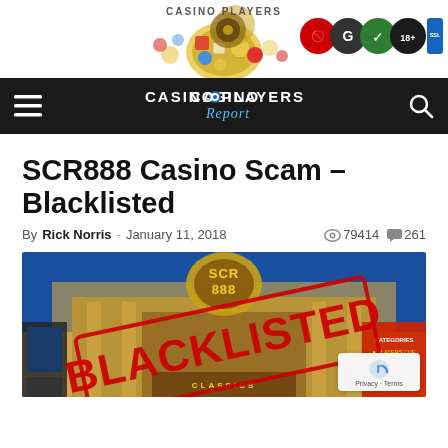[Figure (screenshot): Casino Players Report website header with casino chips/dice logo in center and trust badges (GamCare, SSL, age verification, etc.) on the right]
[Figure (screenshot): Dark navigation bar with hamburger menu icon on left, Casino Players Report logo in center, search icon on right]
SCR888 Casino Scam – Blacklisted
By Rick Norris - January 11, 2018  👁 79414  💬 261
[Figure (photo): SCR888 casino interior image with a large red BLACKLISTED stamp overlaid diagonally across the image]